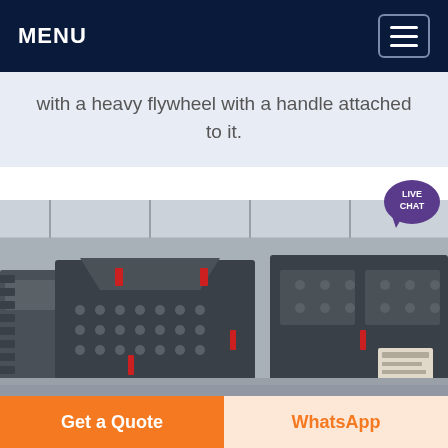MENU
with a heavy flywheel with a handle attached to it.
[Figure (photo): Industrial machinery in a factory setting — large heavy black metal shredder/crusher machine components with bolts and attachment points, orange overhead crane visible in background of a large industrial warehouse.]
Get a Quote
WhatsApp